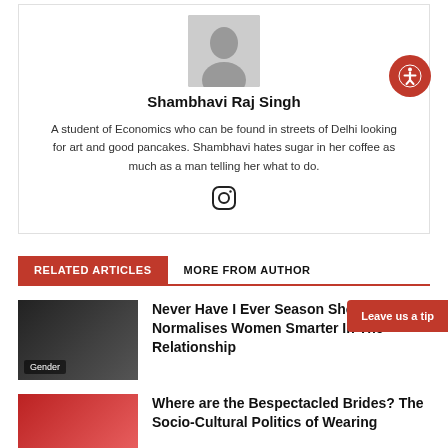[Figure (photo): Author photo of Shambhavi Raj Singh, cropped at top]
Shambhavi Raj Singh
A student of Economics who can be found in streets of Delhi looking for art and good pancakes. Shambhavi hates sugar in her coffee as much as a man telling her what to do.
[Figure (illustration): Instagram icon]
RELATED ARTICLES
MORE FROM AUTHOR
[Figure (photo): Thumbnail for Never Have I Ever article with Gender tag]
Never Have I Ever Season Show Normalises Women Smarter In The Relationship
[Figure (photo): Thumbnail for Bespectacled Brides article]
Where are the Bespectacled Brides? The Socio-Cultural Politics of Wearing